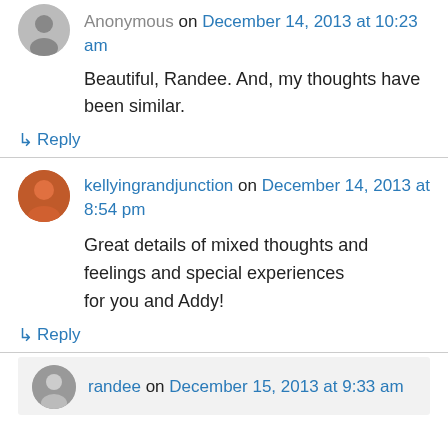Anonymous on December 14, 2013 at 10:23 am
Beautiful, Randee. And, my thoughts have been similar.
↳ Reply
kellyingrandjunction on December 14, 2013 at 8:54 pm
Great details of mixed thoughts and feelings and special experiences for you and Addy!
↳ Reply
randee on December 15, 2013 at 9:33 am